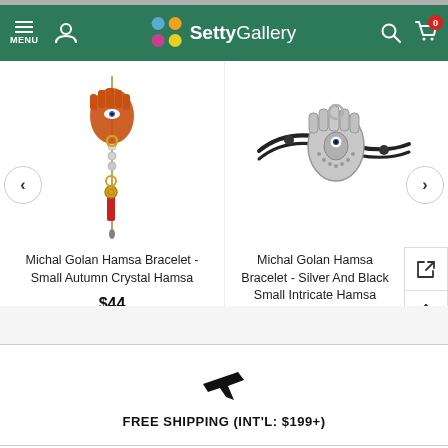[Figure (screenshot): Setty Gallery e-commerce website header with green background, hamburger menu, user icon, Setty Gallery logo with colorful circles, search icon, and shopping cart with badge showing 0]
[Figure (photo): Michal Golan Hamsa Bracelet - Small Autumn Crystal Hamsa product image showing a charm bracelet with orange/red hamsa pendant]
Michal Golan Hamsa Bracelet - Small Autumn Crystal Hamsa
$44
[Figure (photo): Michal Golan Hamsa Bracelet - Silver And Black Small Intricate Hamsa product image showing a silver hamsa bracelet on black cord]
Michal Golan Hamsa Bracelet - Silver And Black Small Intricate Hamsa
$44
FREE SHIPPING (INT'L: $199+)